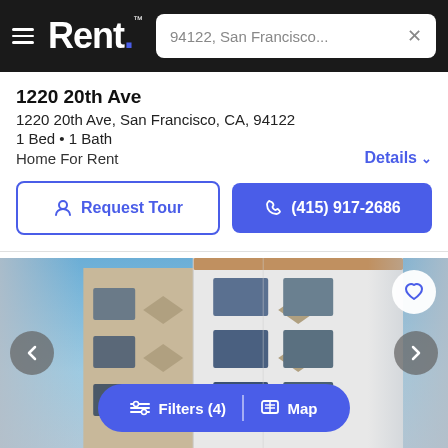Rent. | 94122, San Francisco...
1220 20th Ave
1220 20th Ave, San Francisco, CA, 94122
1 Bed • 1 Bath
Home For Rent
Details
Request Tour
(415) 917-2686
[Figure (photo): Exterior photo of a multi-story residential building with white facade, diamond-shaped stone accents, and dark-framed windows under a blue sky. Navigation arrows on left and right, heart/favorite button top right, Filters/Map pill button at bottom.]